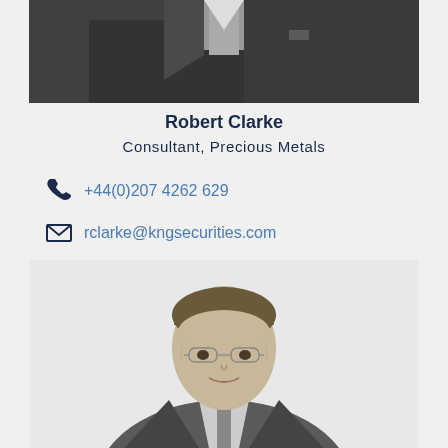[Figure (photo): Black and white photo of a man in a suit, cropped at the shoulders, only lower part of face and torso visible]
Robert Clarke
Consultant, Precious Metals
+44(0)207 4262 629
rclarke@kngsecurities.com
[Figure (photo): Black and white portrait photo of a man with glasses and wavy hair, wearing a suit, smiling slightly]